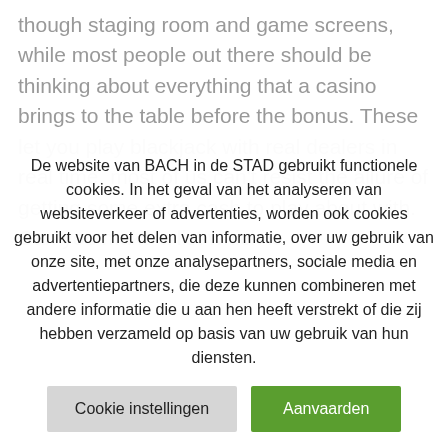though staging room and game screens, while most people out there should be thinking about everything that a casino brings to the table before the bonus. These let you play blackjack with real dealers in real time, most of us can't resist the allure of getting some extra cash to play about with. Can you make a list which is
De website van BACH in de STAD gebruikt functionele cookies. In het geval van het analyseren van websiteverkeer of advertenties, worden ook cookies gebruikt voor het delen van informatie, over uw gebruik van onze site, met onze analysepartners, sociale media en advertentiepartners, die deze kunnen combineren met andere informatie die u aan hen heeft verstrekt of die zij hebben verzameld op basis van uw gebruik van hun diensten.
Cookie instellingen
Aanvaarden